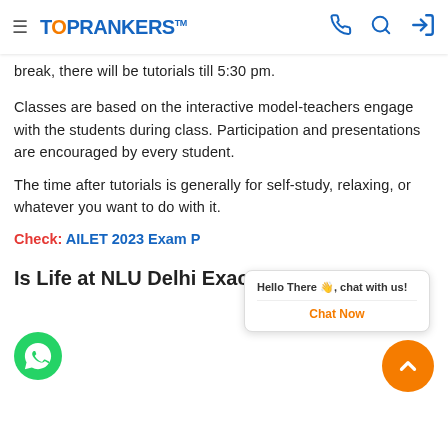TOPRANKERS
break, there will be tutorials till 5:30 pm.
Classes are based on the interactive model- teachers engage with the students during class. Participation and presentations are encouraged by every student.
The time after tutorials is generally for self-study, relaxing, or whatever you want to do with it.
Check: AILET 2023 Exam P...
Is Life at NLU Delhi Exactly as Expected?